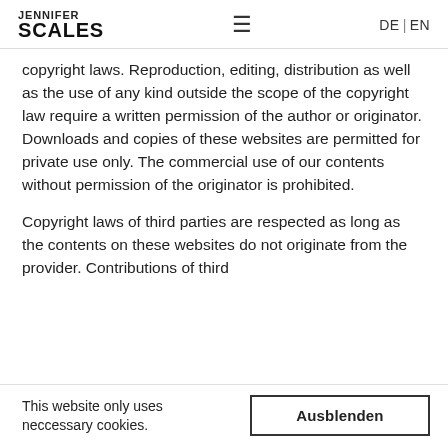JENNIFER SCALES  ≡  DE | EN
copyright laws. Reproduction, editing, distribution as well as the use of any kind outside the scope of the copyright law require a written permission of the author or originator. Downloads and copies of these websites are permitted for private use only. The commercial use of our contents without permission of the originator is prohibited.
Copyright laws of third parties are respected as long as the contents on these websites do not originate from the provider. Contributions of third
This website only uses neccessary cookies.
Ausblenden